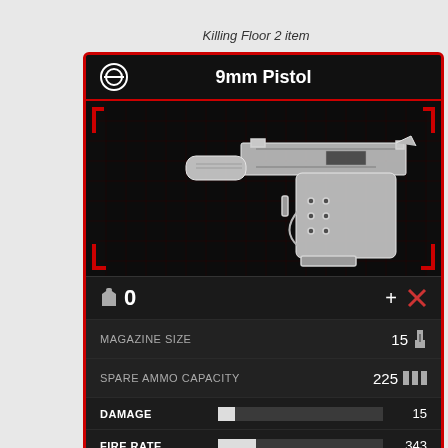Killing Floor 2 item
9mm Pistol
[Figure (illustration): White holographic-style 9mm pistol on dark grid background with red corner brackets]
0
| Stat | Value |
| --- | --- |
| MAGAZINE SIZE | 15 |
| SPARE AMMO CAPACITY | 225 |
| Stat | Bar | Value |
| --- | --- | --- |
| DAMAGE | ~10% | 15 |
| FIRE RATE | ~25% | 343 |
| ACCURACY | ~50% | 50 |
| PENETRATION | ~1% | 0 |